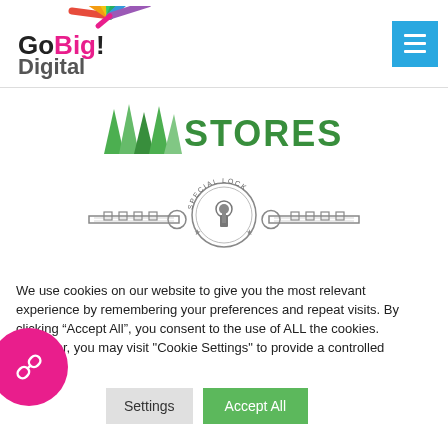[Figure (logo): GoBig Digital logo with colorful fan/burst graphic and text 'GoBig Digital']
[Figure (logo): Green grass-themed logo with text 'STORES' in green]
[Figure (logo): Special Lock logo with two crossed keys and circular badge reading 'SPECIAL LOCK']
We use cookies on our website to give you the most relevant experience by remembering your preferences and repeat visits. By clicking “Accept All”, you consent to the use of ALL the cookies. However, you may visit "Cookie Settings" to provide a controlled consent.
[Figure (other): Cookie Settings button (grey) and Accept All button (green)]